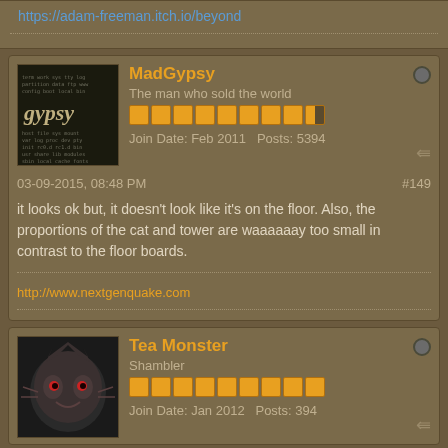https://adam-freeman.itch.io/beyond
MadGypsy
The man who sold the world
Join Date: Feb 2011  Posts: 5394
03-09-2015, 08:48 PM  #149
it looks ok but, it doesn't look like it's on the floor. Also, the proportions of the cat and tower are waaaaaay too small in contrast to the floor boards.
http://www.nextgenquake.com
Tea Monster
Shambler
Join Date: Jan 2012  Posts: 394